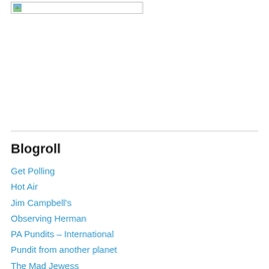[Figure (illustration): Small image placeholder icon in top-left area]
Blogroll
Get Polling
Hot Air
Jim Campbell's
Observing Herman
PA Pundits – International
Pundit from another planet
The Mad Jewess